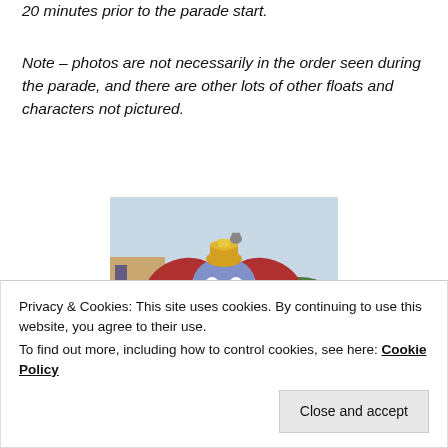20 minutes prior to the parade start.
Note – photos are not necessarily in the order seen during the parade, and there are other lots of other floats and characters not pictured.
[Figure (photo): A large Dumbo float/character figure with big red ears, blue elephant body, and yellow hat, photographed against a sky background with trees and a building sign visible.]
Privacy & Cookies: This site uses cookies. By continuing to use this website, you agree to their use.
To find out more, including how to control cookies, see here: Cookie Policy
Close and accept